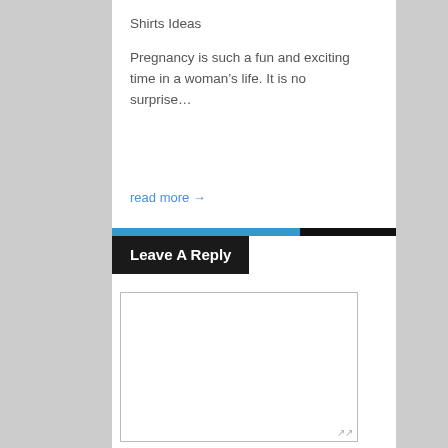Shirts Ideas
Pregnancy is such a fun and exciting time in a woman’s life. It is no surprise…
read more →
Leave A Reply
[Figure (other): Empty comment textarea input box with resize handle]